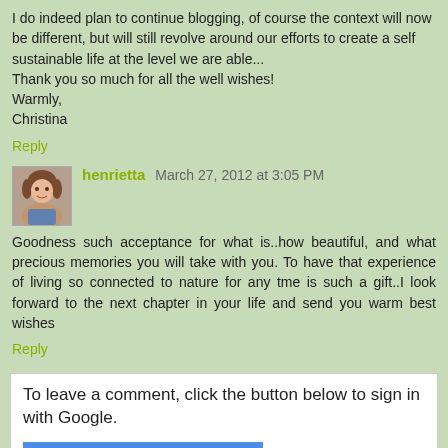I do indeed plan to continue blogging, of course the context will now be different, but will still revolve around our efforts to create a self sustainable life at the level we are able... Thank you so much for all the well wishes!
Warmly,
Christina
Reply
henrietta  March 27, 2012 at 3:05 PM
Goodness such acceptance for what is..how beautiful, and what precious memories you will take with you. To have that experience of living so connected to nature for any tme is such a gift..I look forward to the next chapter in your life and send you warm best wishes
Reply
To leave a comment, click the button below to sign in with Google.
SIGN IN WITH GOOGLE